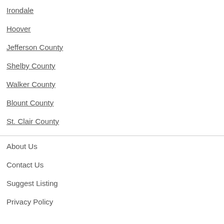Irondale
Hoover
Jefferson County
Shelby County
Walker County
Blount County
St. Clair County
About Us
Contact Us
Suggest Listing
Privacy Policy